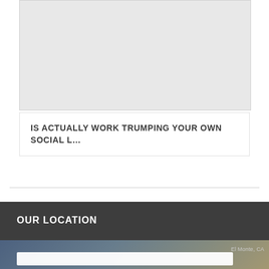[Figure (other): Light gray placeholder image box at the top of the page]
IS ACTUALLY WORK TRUMPING YOUR OWN SOCIAL L…
[Figure (other): Back to top button with upward arrow, gray background]
OUR LOCATION
[Figure (map): Partial map preview at the bottom of the page showing El Monte area with a search bar overlay]